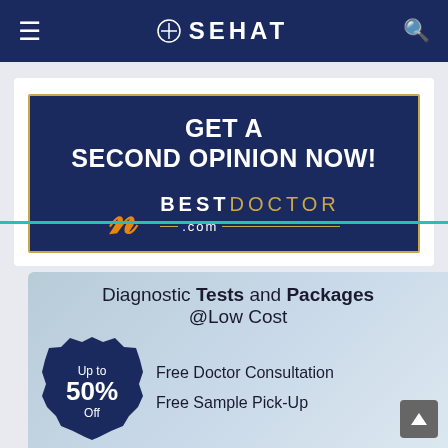SEHAT
[Figure (advertisement): BestDoctor.com advertisement: GET A SECOND OPINION NOW! with BestDoctor.com branding logo and golden border on dark navy background]
[Figure (infographic): Diagnostic Tests and Packages @Low Cost — Up to 50% Off badge, Free Doctor Consultation, Free Sample Pick-Up on blurred medical background]